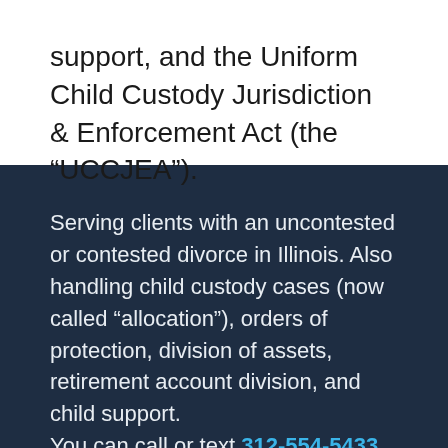support, and the Uniform Child Custody Jurisdiction & Enforcement Act (the “UCCJEA”).
Serving clients with an uncontested or contested divorce in Illinois. Also handling child custody cases (now called “allocation”), orders of protection, division of assets, retirement account division, and child support. You can call or text 312-554-5433 to talk to an Illinois divorce lawyer. We handle cases in the Illinois counties of Cook, DuPage, Lake, and McHenry. This website